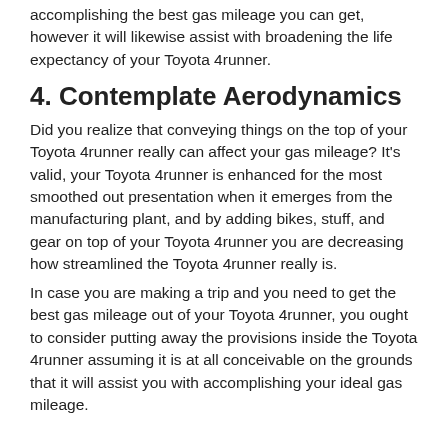accomplishing the best gas mileage you can get, however it will likewise assist with broadening the life expectancy of your Toyota 4runner.
4. Contemplate Aerodynamics
Did you realize that conveying things on the top of your Toyota 4runner really can affect your gas mileage? It's valid, your Toyota 4runner is enhanced for the most smoothed out presentation when it emerges from the manufacturing plant, and by adding bikes, stuff, and gear on top of your Toyota 4runner you are decreasing how streamlined the Toyota 4runner really is.
In case you are making a trip and you need to get the best gas mileage out of your Toyota 4runner, you ought to consider putting away the provisions inside the Toyota 4runner assuming it is at all conceivable on the grounds that it will assist you with accomplishing your ideal gas mileage.